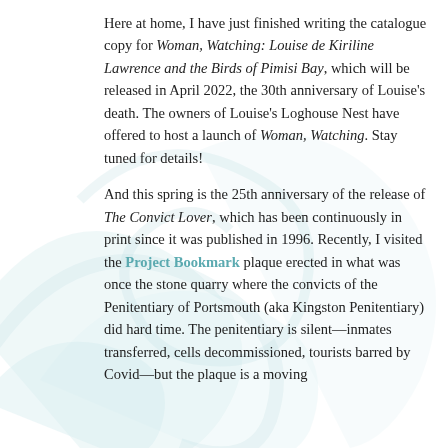[Figure (illustration): Decorative light teal/cyan swirling ribbon/wave design in the background of the page]
Here at home, I have just finished writing the catalogue copy for Woman, Watching: Louise de Kiriline Lawrence and the Birds of Pimisi Bay, which will be released in April 2022, the 30th anniversary of Louise's death. The owners of Louise's Loghouse Nest have offered to host a launch of Woman, Watching. Stay tuned for details!

And this spring is the 25th anniversary of the release of The Convict Lover, which has been continuously in print since it was published in 1996. Recently, I visited the Project Bookmark plaque erected in what was once the stone quarry where the convicts of the Penitentiary of Portsmouth (aka Kingston Penitentiary) did hard time. The penitentiary is silent—inmates transferred, cells decommissioned, tourists barred by Covid—but the plaque is a moving